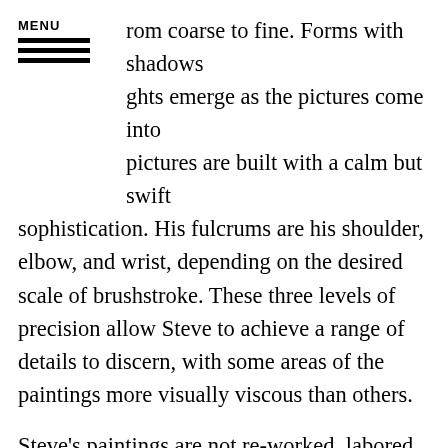rom coarse to fine. Forms with shadows ghts emerge as the pictures come into pictures are built with a calm but swift sophistication. His fulcrums are his shoulder, elbow, and wrist, depending on the desired scale of brushstroke. These three levels of precision allow Steve to achieve a range of details to discern, with some areas of the paintings more visually viscous than others.
Steve's paintings are not re-worked, labored over, or even contemplated upon completion. Steve doesn't sweat it. Like Georges Seurat, Steve simply applies the system. The image processing and painting processes have been distilled down